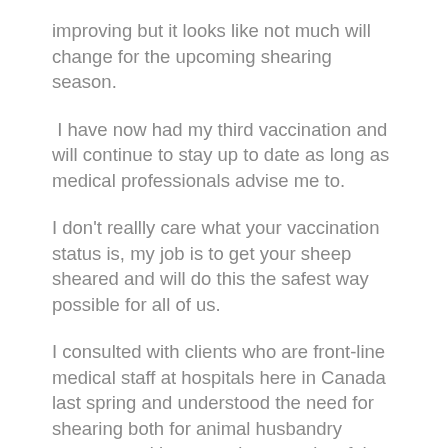improving but it looks like not much will change for the upcoming shearing season.
I have now had my third vaccination and will continue to stay up to date as long as medical professionals advise me to.
I don't reallly care what your vaccination status is, my job is to get your sheep sheared and will do this the safest way possible for all of us.
I consulted with clients who are front-line medical staff at hospitals here in Canada last spring and understood the need for shearing both for animal husbandry reasons and by extension security of the food supply.
Their recommendations were for me to…